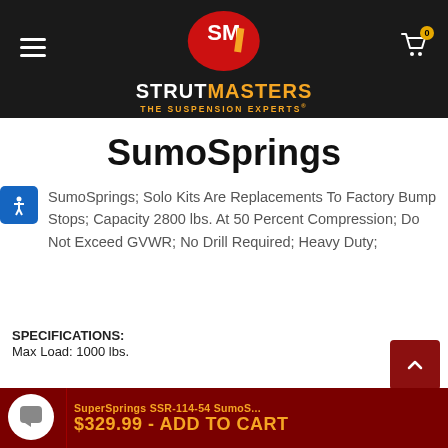[Figure (logo): StrutMasters SM logo — red oval with SM letters, gold stripe, white text STRUTMASTERS, orange text THE SUSPENSION EXPERTS]
SumoSprings
SumoSprings; Solo Kits Are Replacements To Factory Bump Stops; Capacity 2800 lbs. At 50 Percent Compression; Do Not Exceed GVWR; No Drill Required; Heavy Duty;
SPECIFICATIONS:
Max Load: 1000 lbs.
SuperSprings SSR-114-54 SumoS... $329.99 - ADD TO CART